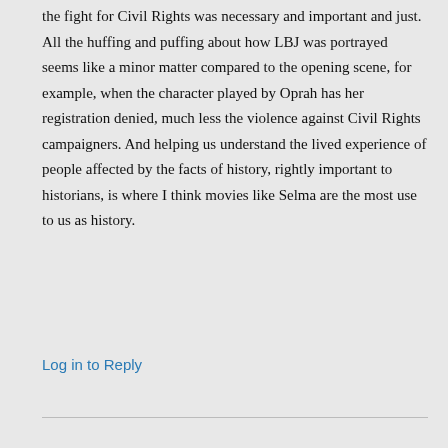the fight for Civil Rights was necessary and important and just. All the huffing and puffing about how LBJ was portrayed seems like a minor matter compared to the opening scene, for example, when the character played by Oprah has her registration denied, much less the violence against Civil Rights campaigners. And helping us understand the lived experience of people affected by the facts of history, rightly important to historians, is where I think movies like Selma are the most use to us as history.
Log in to Reply